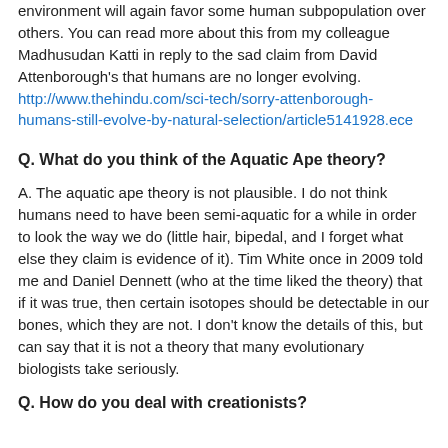environment will again favor some human subpopulation over others. You can read more about this from my colleague Madhusudan Katti in reply to the sad claim from David Attenborough's that humans are no longer evolving. http://www.thehindu.com/sci-tech/sorry-attenborough-humans-still-evolve-by-natural-selection/article5141928.ece
Q. What do you think of the Aquatic Ape theory?
A. The aquatic ape theory is not plausible. I do not think humans need to have been semi-aquatic for a while in order to look the way we do (little hair, bipedal, and I forget what else they claim is evidence of it). Tim White once in 2009 told me and Daniel Dennett (who at the time liked the theory) that if it was true, then certain isotopes should be detectable in our bones, which they are not. I don't know the details of this, but can say that it is not a theory that many evolutionary biologists take seriously.
Q. How do you deal with creationists?